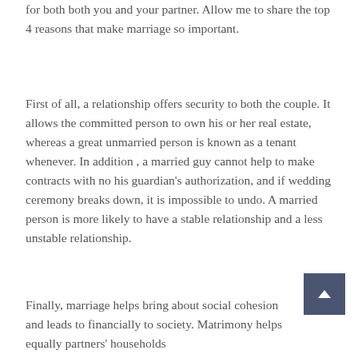for both both you and your partner. Allow me to share the top 4 reasons that make marriage so important.
First of all, a relationship offers security to both the couple. It allows the committed person to own his or her real estate, whereas a great unmarried person is known as a tenant whenever. In addition , a married guy cannot help to make contracts with no his guardian's authorization, and if wedding ceremony breaks down, it is impossible to undo. A married person is more likely to have a stable relationship and a less unstable relationship.
Finally, marriage helps bring about social cohesion and leads to financially to society. Matrimony helps equally partners' households